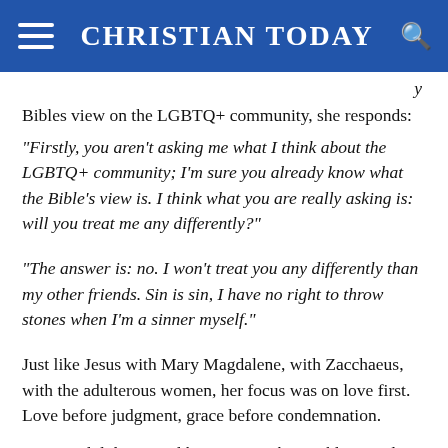CHRISTIAN TODAY
Bibles view on the LGBTQ+ community, she responds:
“Firstly, you aren’t asking me what I think about the LGBTQ+ community; I’m sure you already know what the Bible’s view is. I think what you are really asking is: will you treat me any differently?”
“The answer is: no. I won’t treat you any differently than my other friends. Sin is sin, I have no right to throw stones when I’m a sinner myself.”
Just like Jesus with Mary Magdalene, with Zacchaeus, with the adulterous women, her focus was on love first. Love before judgment, grace before condemnation.
“For God did not send his Son into the world to condemn the